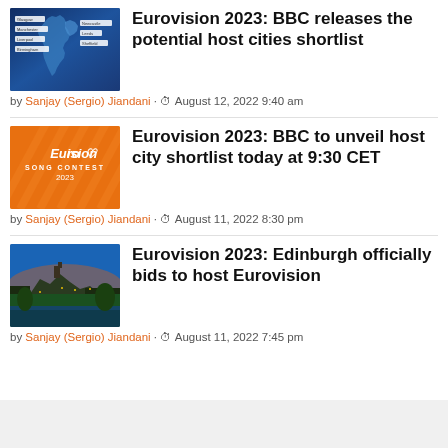Eurovision 2023: BBC releases the potential host cities shortlist
by Sanjay (Sergio) Jiandani · August 12, 2022 9:40 am
Eurovision 2023: BBC to unveil host city shortlist today at 9:30 CET
by Sanjay (Sergio) Jiandani · August 11, 2022 8:30 pm
Eurovision 2023: Edinburgh officially bids to host Eurovision
by Sanjay (Sergio) Jiandani · August 11, 2022 7:45 pm